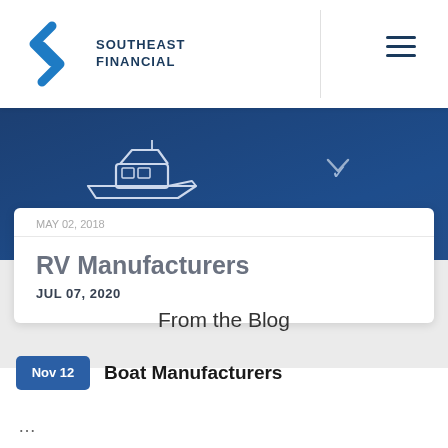SOUTHEAST FINANCIAL
[Figure (illustration): Southeast Financial logo with stylized S chevron icon in blue]
[Figure (illustration): Boat/yacht outline icon in white on dark blue navigation ribbon]
RV Manufacturers
JUL 07, 2020
From the Blog
Nov 12  Boat Manufacturers
...